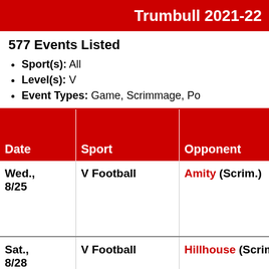Trumbull 2021-22
577 Events Listed
Sport(s): All
Level(s): V
Event Types: Game, Scrimmage, Po
| Date | Sport | Opponent |
| --- | --- | --- |
| Wed., 8/25 | V Football | Amity (Scrim.) |
| Sat., 8/28 | V Football | Hillhouse (Scrim |